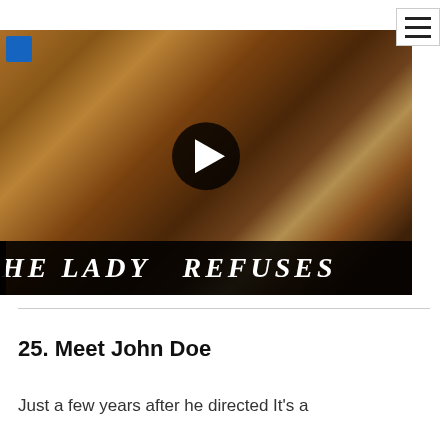[Figure (screenshot): Video thumbnail for 'The Lady Refuses' showing a sepia-toned still of a woman and man in formal attire, with a YouTube-style play button overlay and the film title 'THE LADY REFUSES' in large white text on a black bar at the bottom.]
25. Meet John Doe
Just a few years after he directed It's a